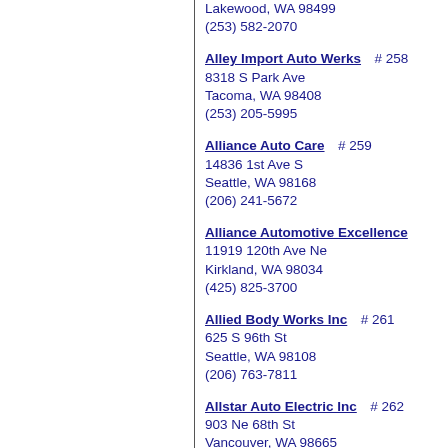Lakewood, WA 98499
(253) 582-2070
Alley Import Auto Werks  # 258
8318 S Park Ave
Tacoma, WA 98408
(253) 205-5995
Alliance Auto Care  # 259
14836 1st Ave S
Seattle, WA 98168
(206) 241-5672
Alliance Automotive Excellence
11919 120th Ave Ne
Kirkland, WA 98034
(425) 825-3700
Allied Body Works Inc  # 261
625 S 96th St
Seattle, WA 98108
(206) 763-7811
Allstar Auto Electric Inc  # 262
903 Ne 68th St
Vancouver, WA 98665
(360) 883-5878
Allstar Transmission  # 263